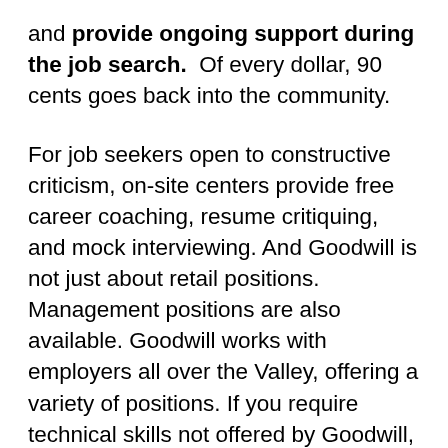and provide ongoing support during the job search.  Of every dollar, 90 cents goes back into the community.
For job seekers open to constructive criticism, on-site centers provide free career coaching, resume critiquing, and mock interviewing. And Goodwill is not just about retail positions. Management positions are also available. Goodwill works with employers all over the Valley, offering a variety of positions. If you require technical skills not offered by Goodwill, they can put you in touch with an organization that does. All services at Goodwill are free to both job seekers and to employers. Connect with